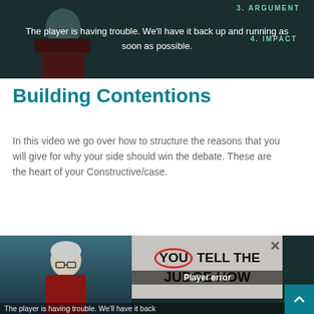[Figure (screenshot): Video player showing player error message over a dark background with a person and text overlays reading 'ARGUMENT' and 'IMPACT'. Error message reads: The player is having trouble. We'll have it back up and running as soon as possible.]
Building Contentions
In this video we go over how to structure the reasons that you will give for why your side should win the debate. These are the heart of your Constructive/case.
[Figure (screenshot): Second video player thumbnail showing a woman with gray hair and glasses on left, and large bold text 'YOU TELL THE JUDGE HOW' on right with a red circle around 'YOU'. A 'Player error' overlay is shown. Bottom text reads: The player is having trouble. We'll have it back...]